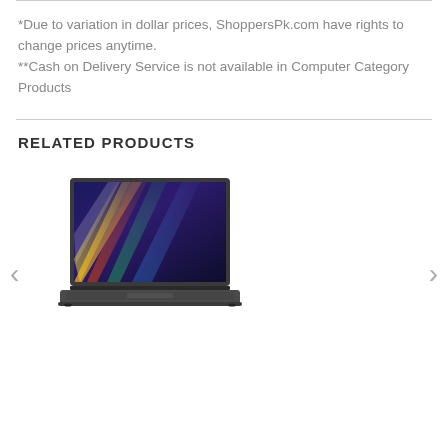*Due to variation in dollar prices, ShoppersPk.com have rights to change prices anytime. **Cash on Delivery Service is not available in Computer Category Products
RELATED PRODUCTS
[Figure (photo): MacBook Pro laptop with colorful abstract wallpaper displayed on screen, shown open at an angle, space gray color]